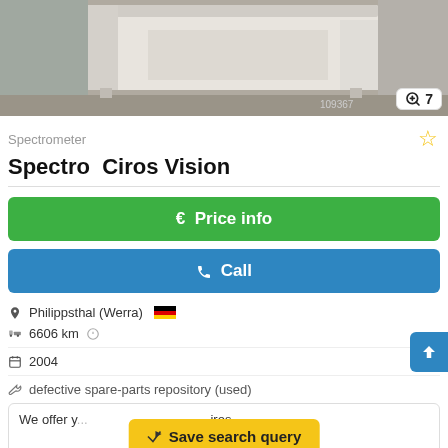[Figure (photo): Photo of a spectrometer laboratory instrument, light-colored cabinet/desk setup in a room]
Spectrometer
Spectro  Ciros Vision
€ Price info
✆ Call
Philippsthal (Werra) 🇩🇪
6606 km
2004
defective spare-parts repository (used)
We offer y... iros
➤ Save search query